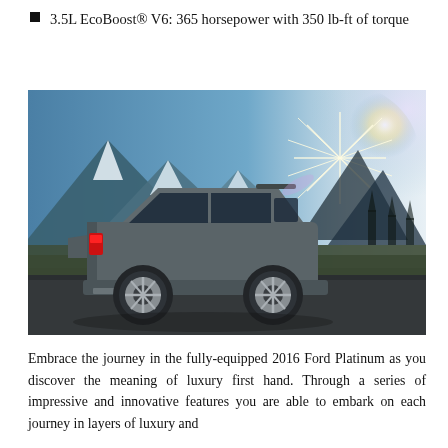3.5L EcoBoost® V6: 365 horsepower with 350 lb-ft of torque
[Figure (photo): A gray Ford Explorer SUV photographed from the rear-left angle, parked on a road with snow-capped mountains and a bright sun star burst in the background.]
Embrace the journey in the fully-equipped 2016 Ford Platinum as you discover the meaning of luxury first hand. Through a series of impressive and innovative features you are able to embark on each journey in layers of luxury and